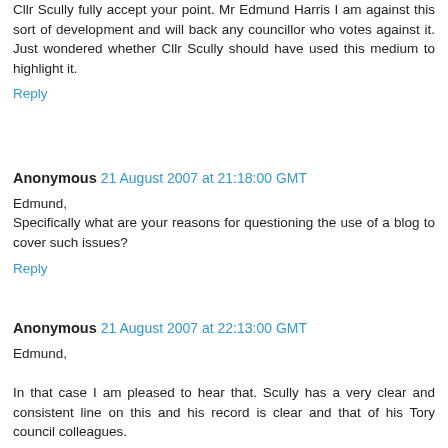Cllr Scully  fully accept your point. Mr Edmund Harris  I am against this sort of development and will back any councillor who votes against it. Just wondered whether Cllr Scully should have used this medium to highlight it.
Reply
Anonymous  21 August 2007 at 21:18:00 GMT
Edmund,
Specifically what are your reasons for questioning the use of a blog to cover such issues?
Reply
Anonymous  21 August 2007 at 22:13:00 GMT
Edmund,

In that case I am pleased to hear that. Scully has a very clear and consistent line on this and his record is clear and that of his Tory council colleagues.